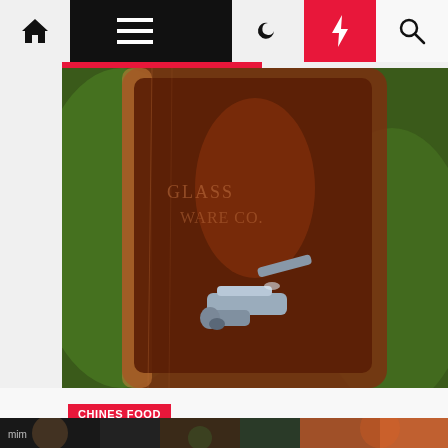Navigation bar with home, menu, dark mode, lightning, search icons
[Figure (photo): Close-up photo of a glass beverage dispenser jar with a metal spigot tap, filled with dark brown liquid (cola), with green bokeh background]
CHINES FOOD
Cola Pot Roast II Recipe
S4ri Kum  2 years ago
[Figure (photo): Partial bottom strip showing another article image preview]